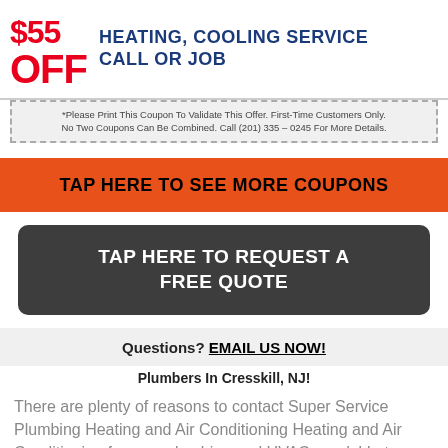[Figure (infographic): Coupon showing OFF in red text and HEATING, COOLING SERVICE CALL OR JOB in blue bold text]
*Please Print This Coupon To Validate This Offer. First-Time Customers Only. No Two Coupons Can Be Combined. Call (201) 335 – 0245 For More Details.
TAP HERE TO SEE MORE COUPONS
TAP HERE TO REQUEST A FREE QUOTE
Questions? EMAIL US NOW!
Plumbers In Cresskill, NJ!
There are plenty of reasons to contact Super Service Plumbing Heating and Air Conditioning Heating and Air Conditioning for your plumbing and HVAC needs! Let us show you why so many people contact us to make sure that they can receive the quality of services they need. We offer top notch